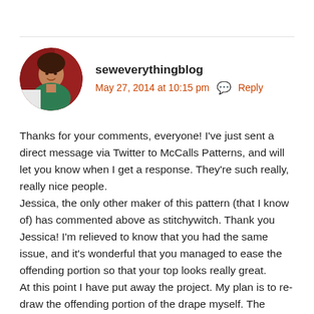[Figure (photo): Circular avatar photo of a woman wearing a green top, with a red background, used as blog commenter profile picture]
seweverythingblog
May 27, 2014 at 10:15 pm  Reply
Thanks for your comments, everyone! I've just sent a direct message via Twitter to McCalls Patterns, and will let you know when I get a response. They're such really, really nice people.
Jessica, the only other maker of this pattern (that I know of) has commented above as stitchywitch. Thank you Jessica! I'm relieved to know that you had the same issue, and it's wonderful that you managed to ease the offending portion so that your top looks really great.
At this point I have put away the project. My plan is to re-draw the offending portion of the drape myself. The